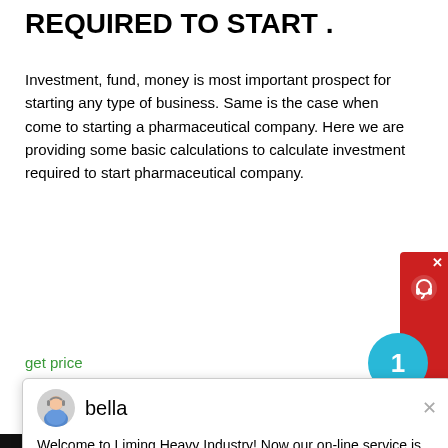REQUIRED TO START .
Investment, fund, money is most important prospect for starting any type of business. Same is the case when come to starting a pharmaceutical company. Here we are providing some basic calculations to calculate investment required to start pharmaceutical company.
get price
[Figure (screenshot): Chat popup widget with avatar of 'bella', showing message: Welcome to Liming Heavy Industry! Now our on-line service is chatting with you! please choose: 1.English. Also shows a red customer service widget on right side, a blue circle with number 1, and a back-to-top button.]